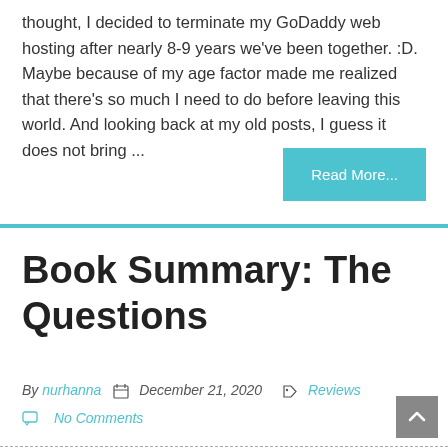thought, I decided to terminate my GoDaddy web hosting after nearly 8-9 years we've been together. :D. Maybe because of my age factor made me realized that there's so much I need to do before leaving this world. And looking back at my old posts, I guess it does not bring ...
Read More...
Book Summary: The Questions
By nurhanna   December 21, 2020   Reviews   No Comments